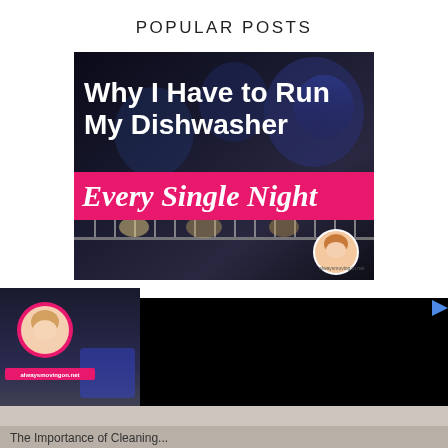POPULAR POSTS
[Figure (photo): Blog post thumbnail: dishwasher interior photo with bold white text 'Why I Have to Run My Dishwasher' and a pink banner reading 'Every Single Night' in cursive italic. Retro housewife avatar in bottom right.]
[Figure (photo): Second blog post thumbnail partially visible, showing dishwasher interior with pink-bordered avatar and a black video panel overlapping on the right side. Close button (X) visible at bottom right.]